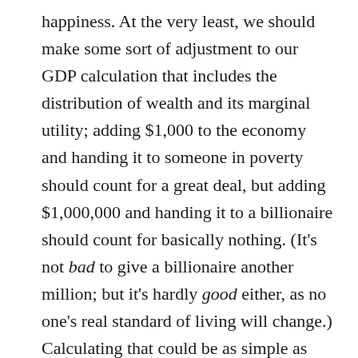happiness. At the very least, we should make some sort of adjustment to our GDP calculation that includes the distribution of wealth and its marginal utility; adding $1,000 to the economy and handing it to someone in poverty should count for a great deal, but adding $1,000,000 and handing it to a billionaire should count for basically nothing. (It's not bad to give a billionaire another million; but it's hardly good either, as no one's real standard of living will change.) Calculating that could be as simple as dividing by their current income; if your annual income is $10,000 and you receive $1,000, you've added about 0.1 QALY. If your annual income is $1 billion and you receive $1 million, you've added only 0.001 QALY. Maybe we should simply separate out all individual (or household, to be simpler?) incomes, take their logarithms, and then use that sum as our